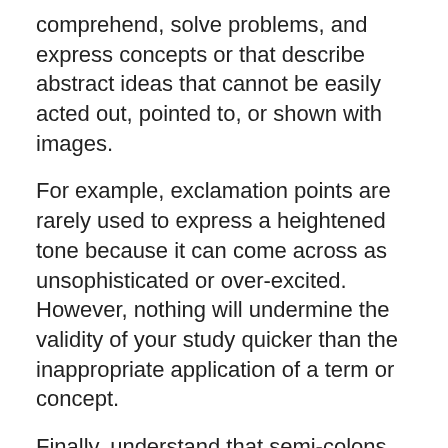comprehend, solve problems, and express concepts or that describe abstract ideas that cannot be easily acted out, pointed to, or shown with images.
For example, exclamation points are rarely used to express a heightened tone because it can come across as unsophisticated or over-excited. However, nothing will undermine the validity of your study quicker than the inappropriate application of a term or concept.
Finally, understand that semi-colons represent a pause that is longer than a comma, but shorter than a period in a sentence. What to Do and What Not to Do The University of New England has excellent how-tos for avoiding common pitfalls, such as using emotional language, using personal language, expressing an opinion too strongly and eliminating unnecessary words.
The materials for the corpus came from four broad fields of study: View important information about the education di...